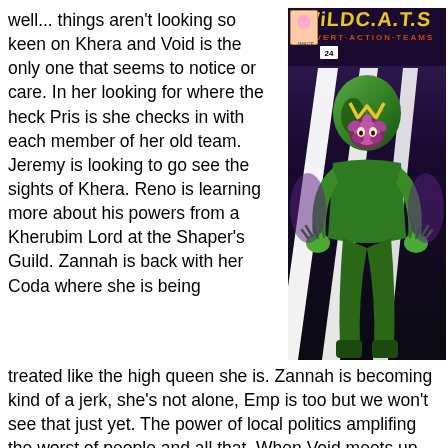well... things aren't looking so keen on Khera and Void is the only one that seems to notice or care. In her looking for where the heck Pris is she checks in with each member of her old team. Jeremy is looking to go see the sights of Khera. Reno is learning more about his powers from a Kherubim Lord at the Shaper's Guild. Zannah is back with her Coda where she is being
[Figure (photo): Comic book cover for WildCATS featuring a green-costumed villain character with a stylized M logo on their chest, set against a dark background with white diagonal stripes and purple elements.]
treated like the high queen she is. Zannah is becoming kind of a jerk, she's not alone, Emp is too but we won't see that just yet. The power of local politics amplifing the worst of people and all that. When Void meets up with Spartan she sees him playing with other Spartan guards. He fills her in on the Kherubim Senate seat that Zannah and Emp are each after and